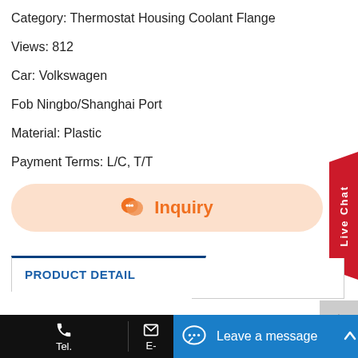Category: Thermostat Housing Coolant Flange
Views: 812
Car: Volkswagen
Fob Ningbo/Shanghai Port
Material: Plastic
Payment Terms: L/C, T/T
[Figure (other): Inquiry button with chat icon, orange text on peach background]
[Figure (other): Live Chat ribbon on right side, red background, vertical white text]
PRODUCT DETAIL
[Figure (other): Scroll to top button, gray background with upward chevron]
Tel.   E-   Leave a message